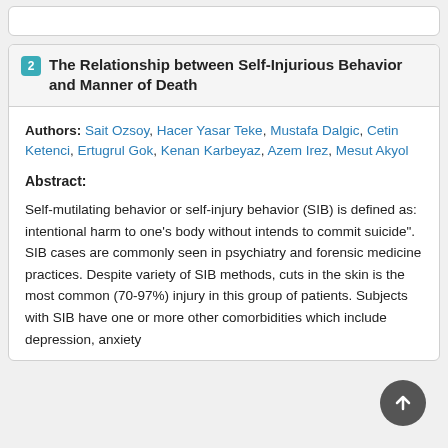2 The Relationship between Self-Injurious Behavior and Manner of Death
Authors: Sait Ozsoy, Hacer Yasar Teke, Mustafa Dalgic, Cetin Ketenci, Ertugrul Gok, Kenan Karbeyaz, Azem Irez, Mesut Akyol
Abstract:
Self-mutilating behavior or self-injury behavior (SIB) is defined as: intentional harm to one's body without intends to commit suicide". SIB cases are commonly seen in psychiatry and forensic medicine practices. Despite variety of SIB methods, cuts in the skin is the most common (70-97%) injury in this group of patients. Subjects with SIB have one or more other comorbidities which include depression, anxiety